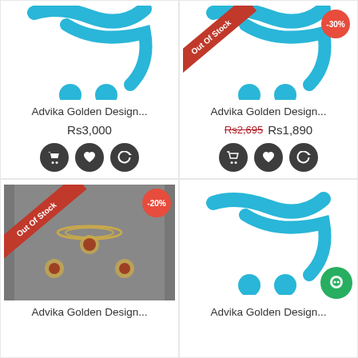[Figure (screenshot): Product card 1: Advika Golden Design jewelry placeholder with shopping cart icon, price Rs3,000, action buttons]
[Figure (screenshot): Product card 2: Advika Golden Design jewelry placeholder with Out of Stock ribbon, -30% badge, price Rs2,695 strikethrough Rs1,890]
[Figure (screenshot): Product card 3: Advika Golden Design jewelry photo with Out of Stock ribbon, -20% badge]
[Figure (screenshot): Product card 4: Advika Golden Design jewelry placeholder with green chat badge]